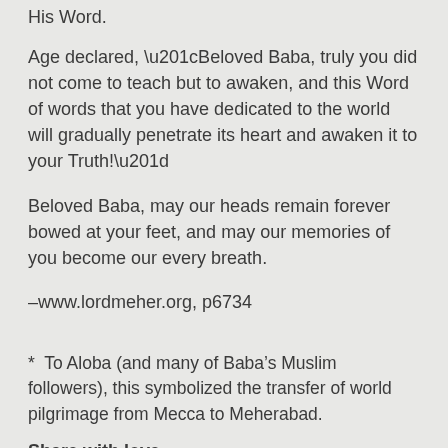His Word.
Age declared, “Beloved Baba, truly you did not come to teach but to awaken, and this Word of words that you have dedicated to the world will gradually penetrate its heart and awaken it to your Truth!”
Beloved Baba, may our heads remain forever bowed at your feet, and may our memories of you become our every breath.
–www.lordmeher.org, p6734
*  To Aloba (and many of Baba’s Muslim followers), this symbolized the transfer of world pilgrimage from Mecca to Meherabad.
Share with love